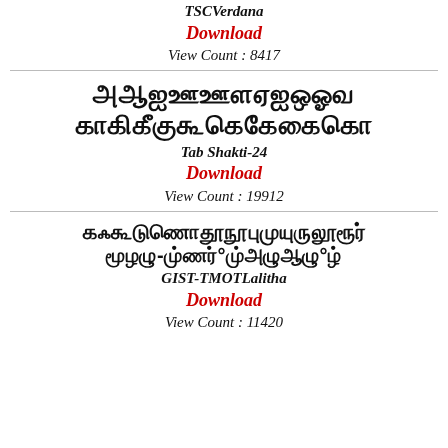TSCVerdana
Download
View Count : 8417
[Figure (other): Tamil font sample for Tab Shakti-24 showing Tamil alphabet characters in two rows]
Tab Shakti-24
Download
View Count : 19912
[Figure (other): Tamil font sample for GIST-TMOTLalitha showing Tamil characters in two rows]
GIST-TMOTLalitha
Download
View Count : 11420